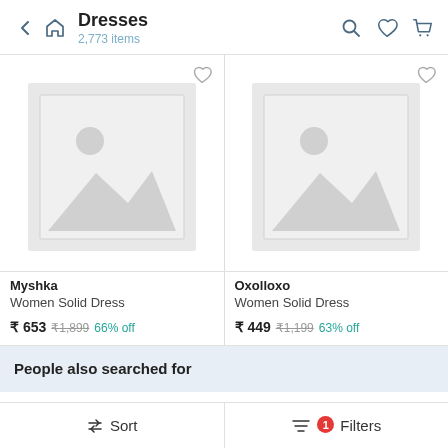Dresses — 2,773 items
[Figure (screenshot): Product image placeholder for Myshka Women Solid Dress]
Myshka
Women Solid Dress
₹ 653  ₹1,899  66% off
[Figure (screenshot): Product image placeholder for Oxolloxo Women Solid Dress]
Oxolloxo
Women Solid Dress
₹ 449  ₹1,199  63% off
People also searched for
↓↑ Sort  |  Filters (1)